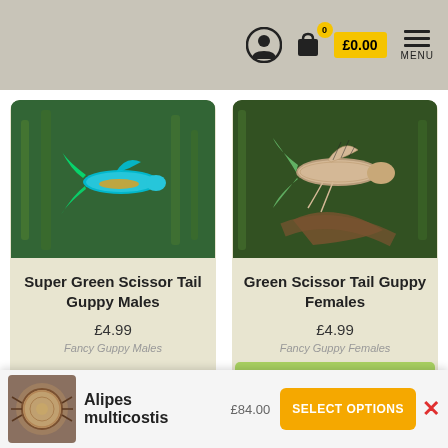£0.00 MENU
[Figure (photo): Photo of a Super Green Scissor Tail Guppy Male fish against a green aquatic background]
Super Green Scissor Tail Guppy Males
£4.99
Fancy Guppy Males
[Figure (photo): Photo of a Green Scissor Tail Guppy Female fish against a green aquatic background]
Green Scissor Tail Guppy Females
£4.99
Fancy Guppy Females
Add to basket
[Figure (photo): Thumbnail photo of Alipes multicostis (centipede)]
Alipes multicostis £84.00
SELECT OPTIONS